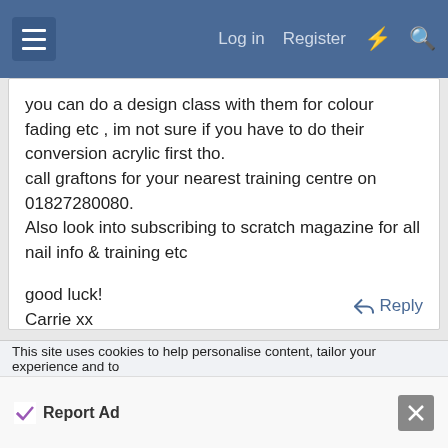Log in  Register
you can do a design class with them for colour fading etc , im not sure if you have to do their conversion acrylic first tho.
call graftons for your nearest training centre on 01827280080.
Also look into subscribing to scratch magazine for all nail info & training etc

good luck!
Carrie xx
Reply
This site uses cookies to help personalise content, tailor your experience and to
Report Ad